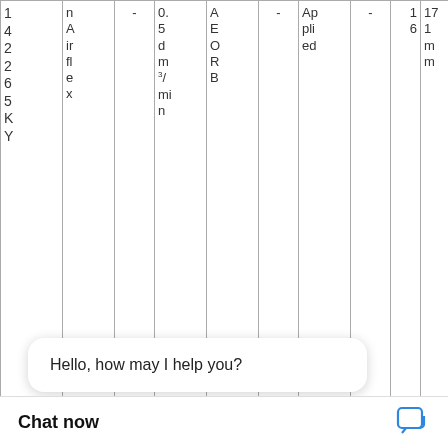| 1
4
2
2
6
5
K
Y | nAirflex | - | 0.5
dm³/min | AEROB | - | Applied | - | 6 | 171
mm |
| 22
CB
500
01 | Eaton | - | - | - | - | - | - | - | - |
| 2 |  | - | - | - | - | - | - | - | - |
[Figure (logo): WhatsApp green circle logo with phone handset icon, labeled 'WhatsApp Online']
Hello, how may I help you?
Chat now